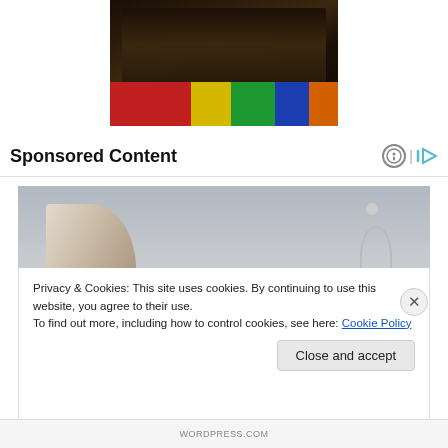[Figure (photo): Photo of a dark-colored cat or dog lying on colorful foam puzzle mat tiles (red, yellow, green, blue, orange), with a person's hands visible]
Sponsored Content
[Figure (photo): Close-up photo of a doctor in a white lab coat holding a pen, with a stethoscope visible]
Privacy & Cookies: This site uses cookies. By continuing to use this website, you agree to their use.
To find out more, including how to control cookies, see here: Cookie Policy
Close and accept